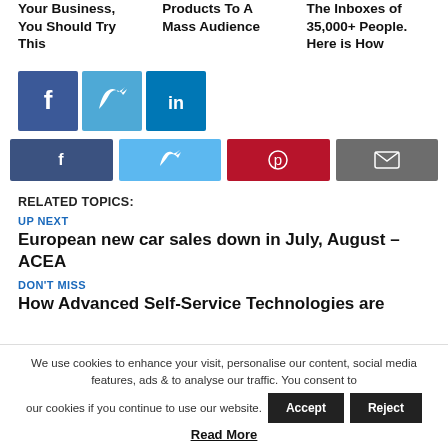Your Business, You Should Try This
Products To A Mass Audience
The Inboxes of 35,000+ People. Here is How
[Figure (other): Social media large icon buttons: Facebook (dark blue), Twitter (light blue), LinkedIn (blue)]
[Figure (other): Social share buttons row: Facebook (dark blue), Twitter (light blue), Pinterest (red), Email (grey)]
RELATED TOPICS:
UP NEXT
European new car sales down in July, August – ACEA
DON'T MISS
How Advanced Self-Service Technologies are
We use cookies to enhance your visit, personalise our content, social media features, ads & to analyse our traffic. You consent to our cookies if you continue to use our website.
Accept
Reject
Read More